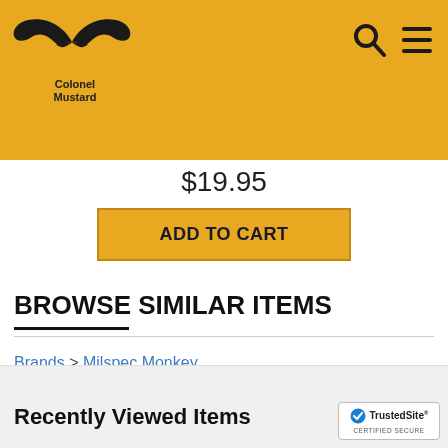[Figure (logo): Colonel Mustard logo with mustache illustration and text 'Colonel Mustard']
$19.95
ADD TO CART
BROWSE SIMILAR ITEMS
Brands > Milspec Monkey
Outdoors > Safety / PPE
Recently Viewed Items
[Figure (logo): TrustedSite Certified Secure badge]